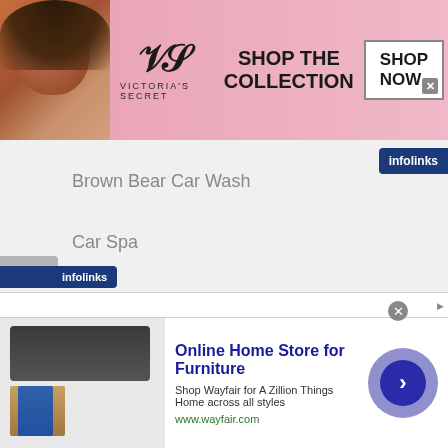[Figure (other): Victoria's Secret banner advertisement with model, VS logo, text 'SHOP THE COLLECTION', and 'SHOP NOW' button]
Brown Bear Car Wash
Car Spa
Carmel Car Wash
Clean Freak Car Wash
Cobblestone Auto Spa
Crew Carwash
Delta Sonic
[Figure (other): Wayfair bottom banner advertisement: 'Online Home Store for Furniture', 'Shop Wayfair for A Zillion Things Home across all styles', www.wayfair.com, with furniture image and arrow button]